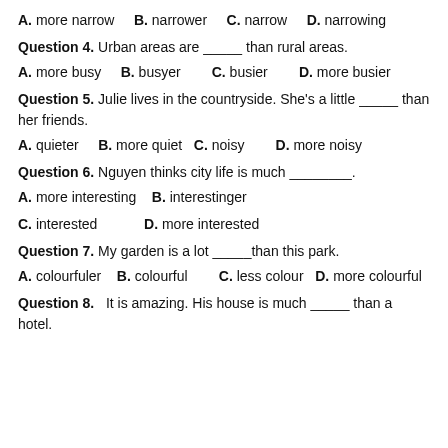A. more narrow    B. narrower    C. narrow    D. narrowing
Question 4. Urban areas are _____ than rural areas.
A. more busy    B. busyer    C. busier    D. more busier
Question 5. Julie lives in the countryside. She's a little _____ than her friends.
A. quieter    B. more quiet    C. noisy    D. more noisy
Question 6. Nguyen thinks city life is much ________.
A. more interesting    B. interestinger
C. interested    D. more interested
Question 7. My garden is a lot _____than this park.
A. colourfuler    B. colourful    C. less colour    D. more colourful
Question 8. It is amazing. His house is much _____ than a hotel.